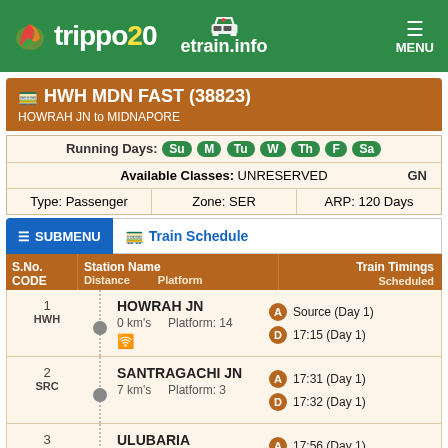trippo20 etrain.info MENU
HWH MDN FAST (38823) - HOWRAH JN to MIDNAPORE
Running Days: Su M Tu W Th F Sa
Available Classes: UNRESERVED  GN
Type: Passenger  Zone: SER  ARP: 120 Days
Train Schedule
| S.No. CODE | Station Name Distance Platform | Train Timings Scheduled |
| --- | --- | --- |
| 1 HWH | HOWRAH JN 0 km's Platform: 14 | A Source (Day 1) D 17:15 (Day 1) |
| 2 SRC | SANTRAGACHI JN 7 km's Platform: 3 | A 17:31 (Day 1) D 17:32 (Day 1) |
| 3 ULB | ULUBARIA 32 km's Platform: 2 | A 17:56 (Day 1) D 17:57 (Day 1) |
| 4 BZN | BAGNAN 45 km's Platform: 2 | A 18:08 (Day 1) |